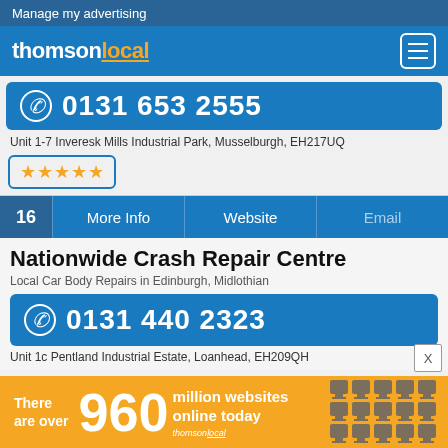Manage my advertising
[Figure (logo): Thomson Local logo with navigation menu icon]
0131 653 2555
Unit 1-7 Inveresk Mills Industrial Park, Musselburgh, EH217UQ
★★★★★
16   More Info   |   Website   |   Email
Nationwide Crash Repair Centre
Local Car Body Repairs in Edinburgh, Midlothian
0131 440 2323
Unit 1c Pentland Industrial Estate, Loanhead, EH209QH
[Figure (infographic): Advertisement banner: There are over 960 million websites online today - Thomson Local ad with monitor icons]